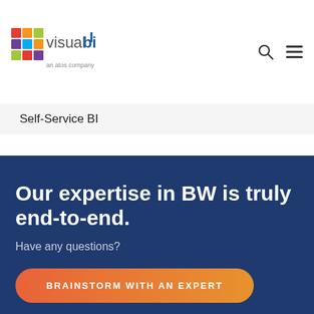[Figure (logo): Visual BI logo — colorful cube grid icon with 'visualbi' text and 'an atos company' tagline]
Self-Service BI
Our expertise in BW is truly end-to-end.
Have any questions?
BRAINSTORM WITH AN EXPERT